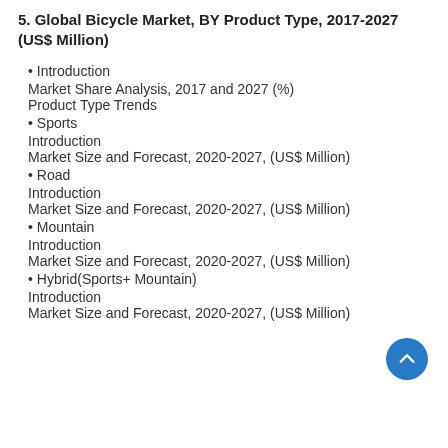5. Global Bicycle Market, BY Product Type, 2017-2027 (US$ Million)
Introduction
Market Share Analysis, 2017 and 2027 (%)
Product Type Trends
Sports
Introduction
Market Size and Forecast, 2020-2027, (US$ Million)
Road
Introduction
Market Size and Forecast, 2020-2027, (US$ Million)
Mountain
Introduction
Market Size and Forecast, 2020-2027, (US$ Million)
Hybrid(Sports+ Mountain)
Introduction
Market Size and Forecast, 2020-2027, (US$ Million)